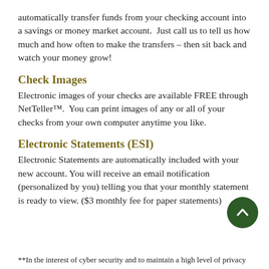automatically transfer funds from your checking account into a savings or money market account.  Just call us to tell us how much and how often to make the transfers – then sit back and watch your money grow!
Check Images
Electronic images of your checks are available FREE through NetTeller™.  You can print images of any or all of your checks from your own computer anytime you like.
Electronic Statements (ESI)
Electronic Statements are automatically included with your new account. You will receive an email notification (personalized by you) telling you that your monthly statement is ready to view. ($3 monthly fee for paper statements)
**In the interest of cyber security and to maintain a high level of privacy